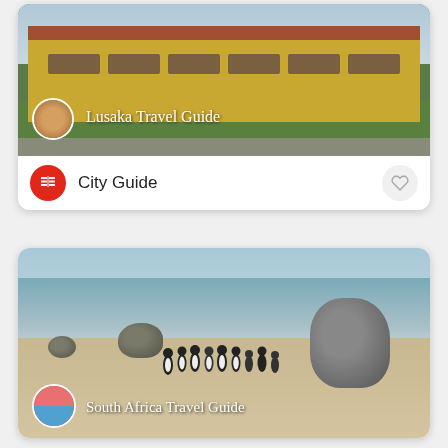[Figure (photo): Lusaka Travel Guide card: photo of a large yellow colonial government building with green lawn; circular avatar of a decorated building in bottom-left. Title 'Lusaka Travel Guide' overlaid in white text.]
City Guide
[Figure (photo): South Africa Travel Guide card: photo of a beach with penguins, large boulders, and waves; circular avatar of colorful Bo-Kaap houses in bottom-left. Title 'South Africa Travel Guide' overlaid in white text.]